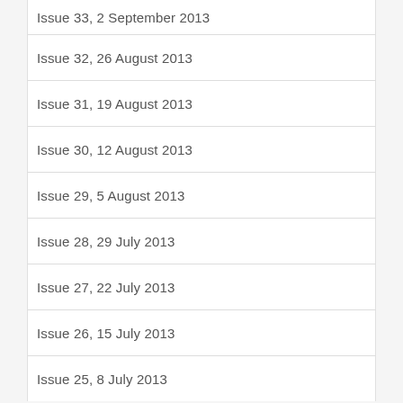Issue 33, 2 September 2013
Issue 32, 26 August 2013
Issue 31, 19 August 2013
Issue 30, 12 August 2013
Issue 29, 5 August 2013
Issue 28, 29 July 2013
Issue 27, 22 July 2013
Issue 26, 15 July 2013
Issue 25, 8 July 2013